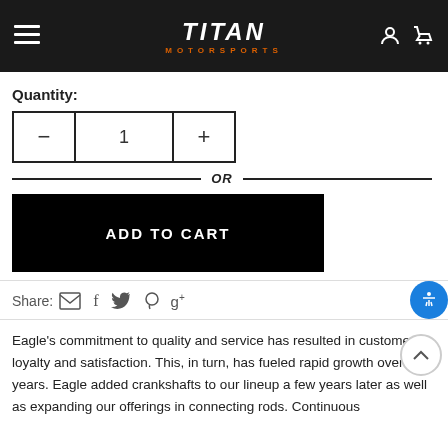TITAN MOTORSPORTS
Quantity:
− 1 +
OR
ADD TO CART
Share:
Eagle's commitment to quality and service has resulted in customer loyalty and satisfaction. This, in turn, has fueled rapid growth over the years. Eagle added crankshafts to our lineup a few years later as well as expanding our offerings in connecting rods. Continuous